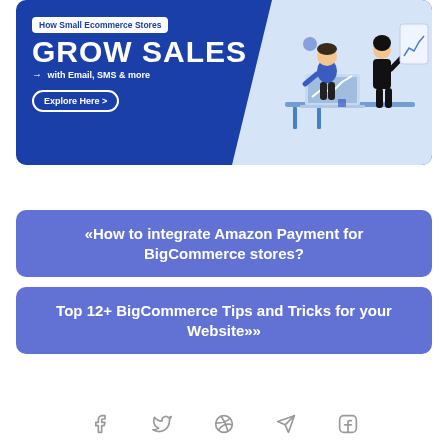[Figure (infographic): Banner ad for ecommerce email/SMS marketing platform showing 'How Small Ecommerce Stores GROW SALES with Email, SMS & more' with an Explore Here button on a blue background and illustration of people at a desk on the right.]
«How to integrate Amazon Payment for BigCommerce stores?
Top 12+ BigCommerce Tips and Tricks for your Website»»
[Figure (infographic): Social media icons row: Facebook, Twitter, Pinterest, Telegram, LinkedIn]